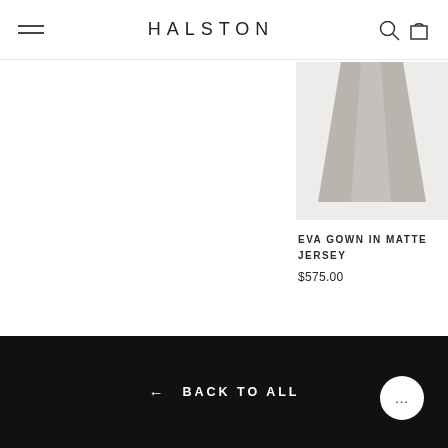HALSTON
[Figure (photo): Partial product image of a gray/taupe flared gown (Eva Gown in Matte Jersey), showing the lower skirt portion against a light gray background.]
EVA GOWN IN MATTE JERSEY
$575.00
← BACK TO ALL